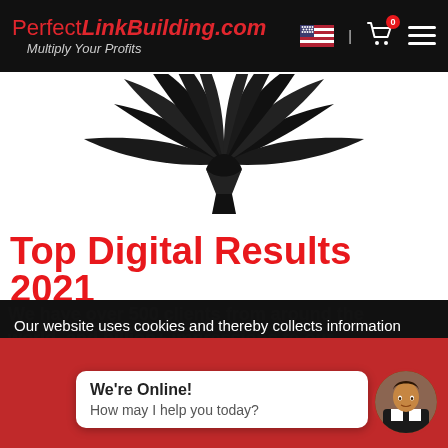PerfectLinkBuilding.com — Multiply Your Profits
[Figure (illustration): Decorative black wings/laurel wreath graphic on white background]
Top Digital Results 2021
Our website uses cookies and thereby collects information about your visit to improve our website (by analyzing), show you Social Media content and relevant advertisements. Please see our cookies page for furher details or agree by clicking the 'Accept' button.
We're Online! How may I help you today?